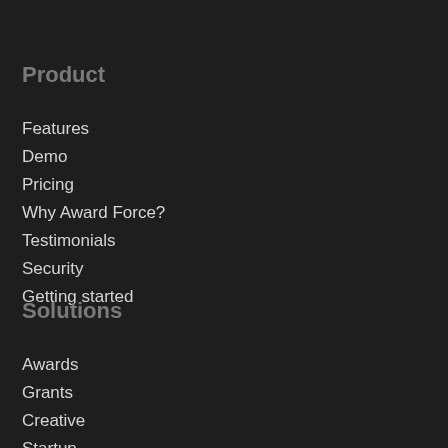Product
Features
Demo
Pricing
Why Award Force?
Testimonials
Security
Getting started
Solutions
Awards
Grants
Creative
Startup
Judging